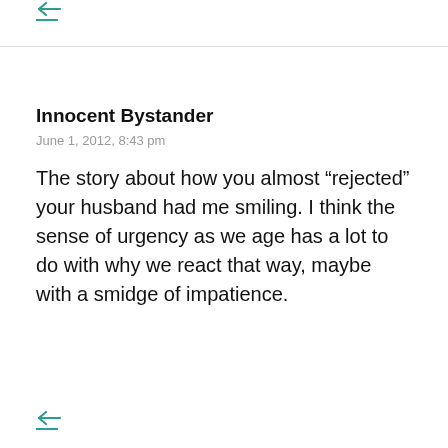[Figure (other): Teal/cyan reply arrow icon with underline at top of page]
Innocent Bystander
June 1, 2012, 8:43 pm
The story about how you almost “rejected” your husband had me smiling. I think the sense of urgency as we age has a lot to do with why we react that way, maybe with a smidge of impatience.
[Figure (other): Teal/cyan reply arrow icon with underline at bottom of page]